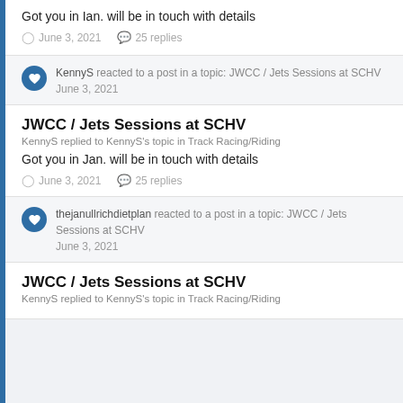Got you in Ian. will be in touch with details
June 3, 2021   25 replies
KennyS reacted to a post in a topic: JWCC / Jets Sessions at SCHV
June 3, 2021
JWCC / Jets Sessions at SCHV
KennyS replied to KennyS's topic in Track Racing/Riding
Got you in Jan. will be in touch with details
June 3, 2021   25 replies
thejanullrichdietplan reacted to a post in a topic: JWCC / Jets Sessions at SCHV
June 3, 2021
JWCC / Jets Sessions at SCHV
KennyS replied to KennyS's topic in Track Racing/Riding